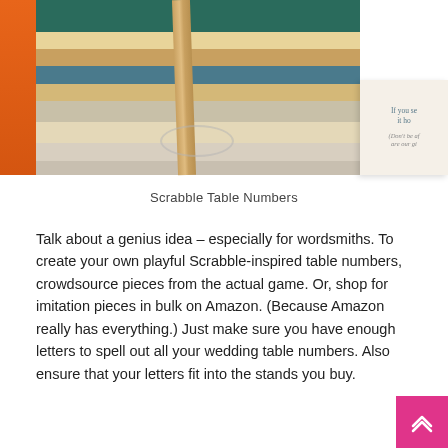[Figure (photo): Stack of vintage books tied with a burlap ribbon on a white surface, with a small card visible on the right side partially showing text 'If you se... it ho...' and '(Don't be af... are our gi...'. An orange bar is visible on the left edge.]
Scrabble Table Numbers
Talk about a genius idea – especially for wordsmiths. To create your own playful Scrabble-inspired table numbers, crowdsource pieces from the actual game. Or, shop for imitation pieces in bulk on Amazon. (Because Amazon really has everything.) Just make sure you have enough letters to spell out all your wedding table numbers. Also ensure that your letters fit into the stands you buy.